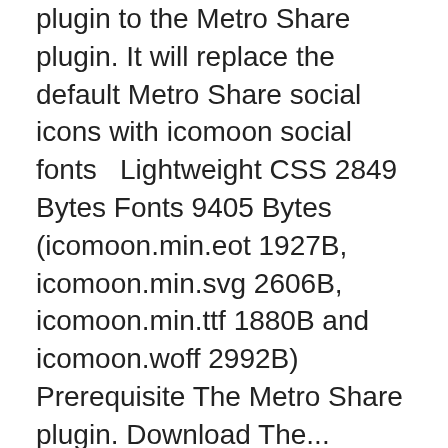plugin to the Metro Share plugin. It will replace the default Metro Share social icons with icomoon social fonts   Lightweight CSS 2849 Bytes Fonts 9405 Bytes (icomoon.min.eot 1927B, icomoon.min.svg 2606B, icomoon.min.ttf 1880B and icomoon.woff 2992B) Prerequisite The Metro Share plugin. Download The...
01 January 2015 |  wp-plugins
AceCustomFieldType
An Ace Custom Field Type for the Admin Page Framework.   Adding AceCustomFieldType class My_Settings extends AdminPageFramework {